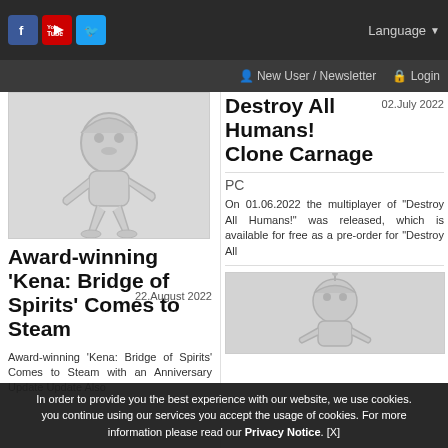Social icons: Facebook, YouTube, Twitter | Language ▼ | New User / Newsletter | Login
[Figure (illustration): Cartoon character illustration of Kena, grayscale, walking pose]
Award-winning 'Kena: Bridge of Spirits' Comes to Steam
22.August 2022
Award-winning 'Kena: Bridge of Spirits' Comes to Steam with an Anniversary Update Update Also
Destroy All Humans! Clone Carnage
02.July 2022
PC
On 01.06.2022 the multiplayer of "Destroy All Humans!" was released, which is available for free as a pre-order for "Destroy All
[Figure (illustration): Cartoon alien character illustration, grayscale]
In order to provide you the best experience with our website, we use cookies. you continue using our services you accept the usage of cookies. For more information please read our Privacy Notice. [X]